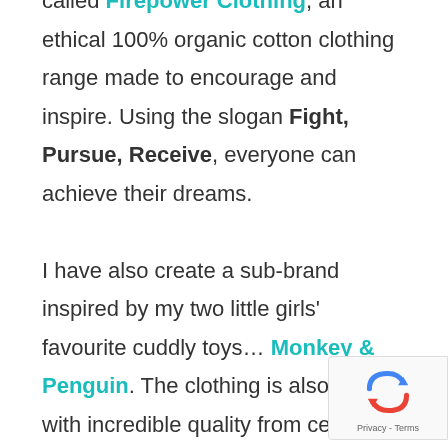called Firepower Clothing, an ethical 100% organic cotton clothing range made to encourage and inspire. Using the slogan Fight, Pursue, Receive, everyone can achieve their dreams.

I have also create a sub-brand inspired by my two little girls' favourite cuddly toys… Monkey & Penguin. The clothing is also made with incredible quality from certified organic cotton for both adults and children. Perfect for anyone who's a cheeky monkey or
[Figure (logo): reCAPTCHA badge with recycling arrows icon and Privacy - Terms text]